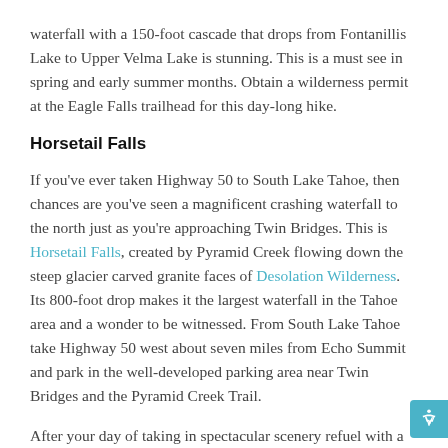waterfall with a 150-foot cascade that drops from Fontanillis Lake to Upper Velma Lake is stunning. This is a must see in spring and early summer months. Obtain a wilderness permit at the Eagle Falls trailhead for this day-long hike.
Horsetail Falls
If you've ever taken Highway 50 to South Lake Tahoe, then chances are you've seen a magnificent crashing waterfall to the north just as you're approaching Twin Bridges. This is Horsetail Falls, created by Pyramid Creek flowing down the steep glacier carved granite faces of Desolation Wilderness. Its 800-foot drop makes it the largest waterfall in the Tahoe area and a wonder to be witnessed. From South Lake Tahoe take Highway 50 west about seven miles from Echo Summit and park in the well-developed parking area near Twin Bridges and the Pyramid Creek Trail.
After your day of taking in spectacular scenery refuel with a stop at Echo Restaurant. Chef Sal's Adventure Menu, with choices like build your own homemade pizza or burger,